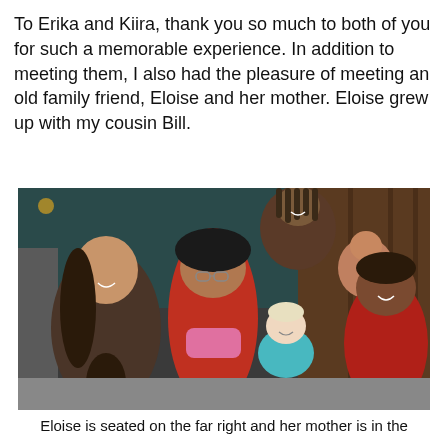To Erika and Kiira, thank you so much to both of you for such a memorable experience. In addition to meeting them, I also had the pleasure of meeting an old family friend, Eloise and her mother. Eloise grew up with my cousin Bill.
[Figure (photo): Group photo of six people seated and standing in a restaurant or indoor setting. From left: a young woman with long dark hair, an elderly woman wearing a black hat and red outfit with a pink scarf, a toddler with light hair in a teal shirt, a young girl, a woman standing in the back with dreadlocks, and a larger woman on the far right in a red top.]
Eloise is seated on the far right and her mother is in the